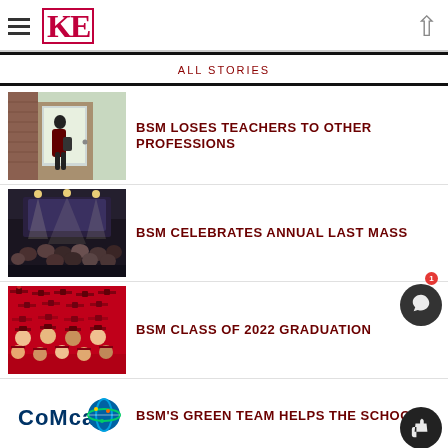KE
ALL STORIES
[Figure (photo): Person entering school building door from outside, daylight visible]
BSM LOSES TEACHERS TO OTHER PROFESSIONS
[Figure (photo): Crowd of students gathered indoors at a school mass event with stage lighting]
BSM CELEBRATES ANNUAL LAST MASS
[Figure (photo): Overhead view of graduates in red caps at graduation ceremony]
BSM CLASS OF 2022 GRADUATION
[Figure (photo): Comcast sign with colorful globe logo, partial view]
BSM'S GREEN TEAM HELPS THE SCHOOL